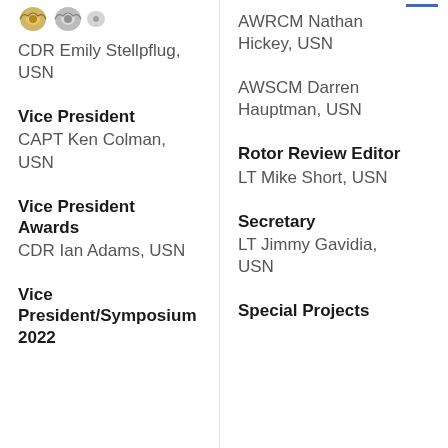[Figure (logo): Two military/naval aviation insignia logos (wing emblems, gold and silver)]
CDR Emily Stellpflug, USN
AWRCM Nathan Hickey, USN
Vice President
CAPT Ken Colman, USN
AWSCM Darren Hauptman, USN
Vice President Awards
CDR Ian Adams, USN
Rotor Review Editor
LT Mike Short, USN
Vice President/Symposium 2022
Secretary
LT Jimmy Gavidia, USN
Special Projects